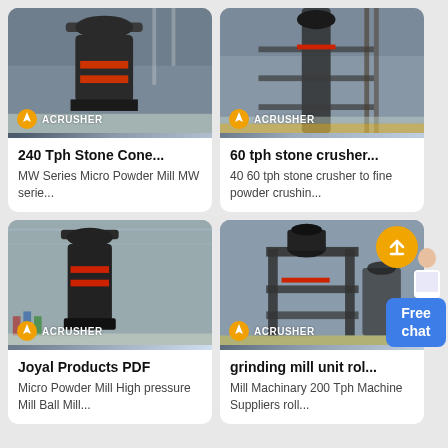[Figure (photo): Industrial stone cone crusher machine in factory, ACRUSHER branded]
240 Tph Stone Cone...
MW Series Micro Powder Mill MW serie...
[Figure (photo): Industrial stone crusher machine tall structure in factory, ACRUSHER branded]
60 tph stone crusher...
40 60 tph stone crusher to fine powder crushin...
[Figure (photo): Joyal industrial grinding mill in large factory hall, ACRUSHER branded]
Joyal Products PDF
Micro Powder Mill High pressure Mill Ball Mill...
[Figure (photo): Grinding mill unit roller machine in factory, ACRUSHER branded]
grinding mill unit rol...
Mill Machinary 200 Tph Machine Suppliers roll...